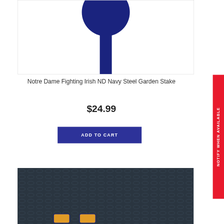[Figure (illustration): Navy blue steel garden stake with circular/teardrop-shaped head on a white background with thin border]
Notre Dame Fighting Irish ND Navy Steel Garden Stake
$24.99
ADD TO CART
[Figure (photo): Dark metallic diamond-plate texture background with two small rectangular yellow/blue badges visible at bottom]
NOTIFY WHEN AVAILABLE